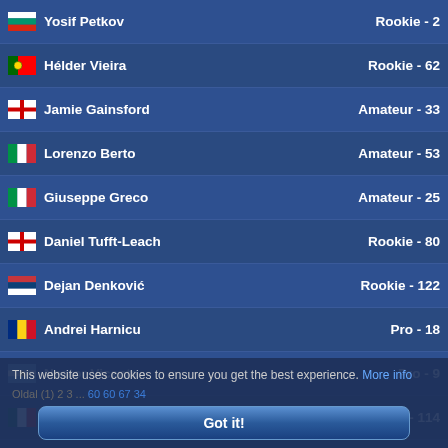| Flag | Name | Rank |
| --- | --- | --- |
| BG | Yosif Petkov | Rookie - 2 |
| PT | Hélder Vieira | Rookie - 62 |
| EN | Jamie Gainsford | Amateur - 33 |
| IT | Lorenzo Berto | Amateur - 53 |
| IT | Giuseppe Greco | Amateur - 25 |
| EN | Daniel Tufft-Leach | Rookie - 80 |
| RS | Dejan Denković | Rookie - 122 |
| RO | Andrei Harnicu | Pro - 18 |
| AR | Nestor Vicente | Pro - 9 |
| MX | Federico García Villagómez | Rookie - 114 |
| US | John Kavanagh | Rookie - 148 |
| BR | Juliano Matzenbacher | Amateur - 37 |
| US | Skeeter Murphy | Rookie - 47 |
| EN | Paul West | Rookie - 93 |
| CA | Richard Hylands | Amateur - 55 |
| HU | Tamás Matúz | Rookie - 19 |
| CA | Lukáš Rychlík | Pro - 14 |
| CZ | Karel Poláček | Pro - 7 |
| FR | Phil Guilb | Rookie - 111 |
| IT | Giuseppe Caldarella | Amateur - 77 |
| -- | Eduardo Fernandez | Rookie - 167 |
This website uses cookies to ensure you get the best experience. More info
Got it!